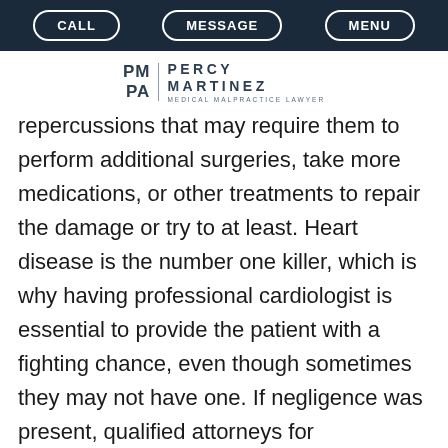CALL  MESSAGE  MENU
[Figure (logo): PM PA | Percy Martinez Medical Malpractice Lawyer logo]
repercussions that may require them to perform additional surgeries, take more medications, or other treatments to repair the damage or try to at least. Heart disease is the number one killer, which is why having professional cardiologist is essential to provide the patient with a fighting chance, even though sometimes they may not have one. If negligence was present, qualified attorneys for cardiologist malpractice in Ft. Lauderdale in Percy Martinez's Firm will strive for maximum success and support their clients in every aspect including moral